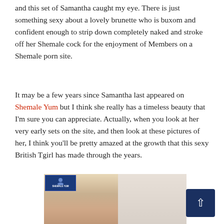and this set of Samantha caught my eye. There is just something sexy about a lovely brunette who is buxom and confident enough to strip down completely naked and stroke off her Shemale cock for the enjoyment of Members on a Shemale porn site.
It may be a few years since Samantha last appeared on Shemale Yum but I think she really has a timeless beauty that I'm sure you can appreciate. Actually, when you look at her very early sets on the site, and then look at these pictures of her, I think you'll be pretty amazed at the growth that this sexy British Tgirl has made through the years.
[Figure (photo): Photo of Samantha with a Shemale Yum watermark badge in the top left corner, showing a brunette woman against a background with blinds/slats and a grey wall on the right side.]